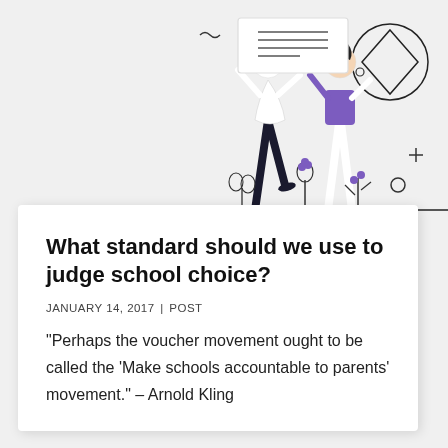[Figure (illustration): Line art illustration showing two people carrying a large document or board, with decorative geometric shapes (circle, diamond), plants, and symbols (+, o) in the background on a light grey background.]
What standard should we use to judge school choice?
JANUARY 14, 2017 | POST
“Perhaps the voucher movement ought to be called the ‘Make schools accountable to parents’ movement.” – Arnold Kling